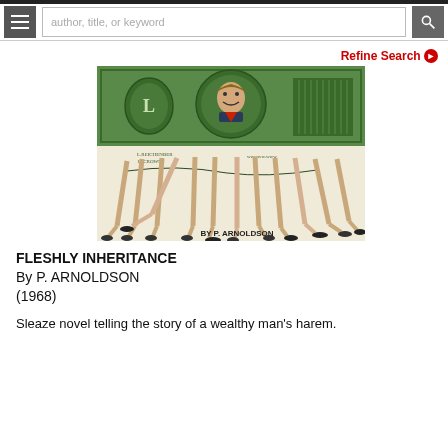author, title, or keyword
Refine Search
[Figure (illustration): Book cover illustration showing a dollar bill with a man's portrait in the center oval, held up by many women's legs in high heels below. Text reads 'BY P. ARNOLDSON' at the bottom right.]
FLESHLY INHERITANCE
By P. ARNOLDSON
(1968)
Sleaze novel telling the story of a wealthy man's harem.